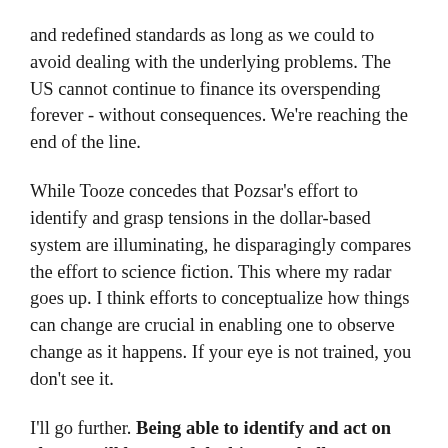and redefined standards as long as we could to avoid dealing with the underlying problems. The US cannot continue to finance its overspending forever - without consequences. We're reaching the end of the line.
While Tooze concedes that Pozsar's effort to identify and grasp tensions in the dollar-based system are illuminating, he disparagingly compares the effort to science fiction. This where my radar goes up. I think efforts to conceptualize how things can change are crucial in enabling one to observe change as it happens. If your eye is not trained, you don't see it.
I'll go further. Being able to identify and act on change will be one of the biggest challenges, investment or otherwise, over the next few years. Those who cannot or will not imagine fundamental changes and adapt to